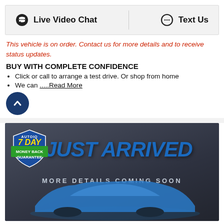[Figure (infographic): Top bar with Live Video Chat and Text Us buttons on grey background]
This vehicle is on order. Contact us for more details and to receive status updates.
BUY WITH COMPLETE CONFIDENCE
Click or call to arrange a test drive. Or shop from home
We can .....Read More
[Figure (illustration): Scroll up button – dark blue circle with upward chevron arrow]
[Figure (photo): Just Arrived promotional image with 7 Day Money Back Guarantee badge, blue bold italic JUST ARRIVED text, MORE DETAILS COMING SOON text, and blue car silhouette on dark grey background]